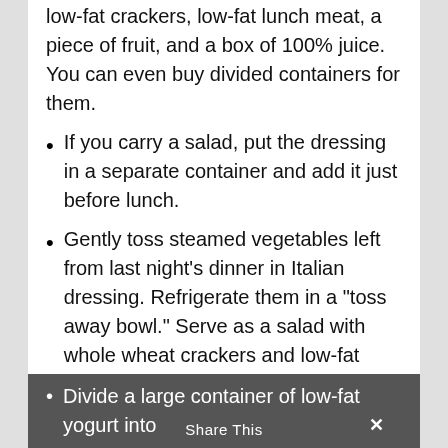low-fat crackers, low-fat lunch meat, a piece of fruit, and a box of 100% juice. You can even buy divided containers for them.
If you carry a salad, put the dressing in a separate container and add it just before lunch.
Gently toss steamed vegetables left from last night’s dinner in Italian dressing. Refrigerate them in a “toss away bowl.” Serve as a salad with whole wheat crackers and low-fat cheese, or use with turkey in a pita pocket.
Marinate some cut-up fruit in orange juice. Add dried mint to suit your taste. Pack into a melon half or other “edible bowl.” Top with a dollop of yogurt and serve with graham crackers.
Divide a large container of low-fat yogurt into